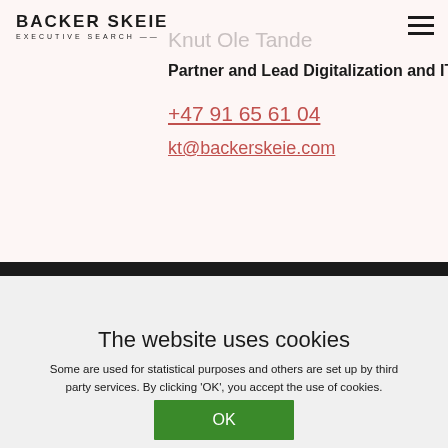Backer Skeie Executive Search
Knut Ole Tande
Partner and Lead Digitalization and IT
+47 91 65 61 04
kt@backerskeie.com
The website uses cookies
Some are used for statistical purposes and others are set up by third party services. By clicking 'OK', you accept the use of cookies.
OK